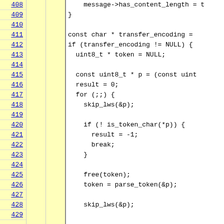[Figure (screenshot): Source code viewer showing lines 408-429 of C code. Left column shows line numbers as blue underlined links on yellow background, followed by two yellow annotation columns, then white code area showing C source code for HTTP transfer encoding parsing.]